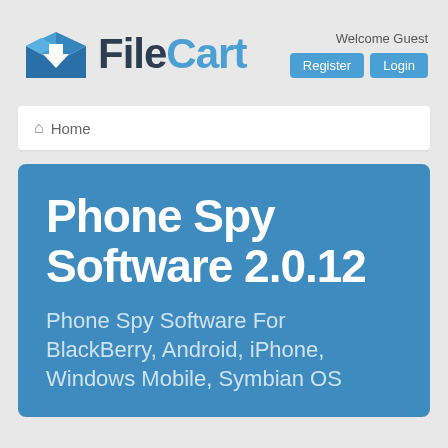[Figure (logo): FileCart logo with blue box icon and arrow, text 'FileCart' in dark blue and light blue, with Welcome Guest text and Register/Login buttons]
Home
Phone Spy Software 2.0.12
Phone Spy Software For BlackBerry, Android, iPhone, Windows Mobile, Symbian OS